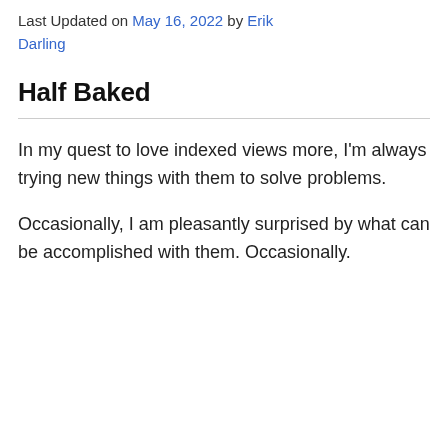Last Updated on May 16, 2022 by Erik Darling
Half Baked
In my quest to love indexed views more, I'm always trying new things with them to solve problems.
Occasionally, I am pleasantly surprised by what can be accomplished with them. Occasionally.